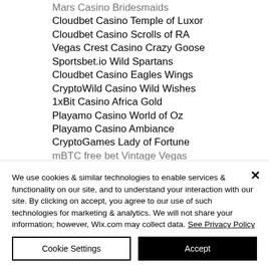Mars Casino Bridesmaids
Cloudbet Casino Temple of Luxor
Cloudbet Casino Scrolls of RA
Vegas Crest Casino Crazy Goose
Sportsbet.io Wild Spartans
Cloudbet Casino Eagles Wings
CryptoWild Casino Wild Wishes
1xBit Casino Africa Gold
Playamo Casino World of Oz
Playamo Casino Ambiance
CryptoGames Lady of Fortune
mBTC free bet Vintage Vegas
We use cookies & similar technologies to enable services & functionality on our site, and to understand your interaction with our site. By clicking on accept, you agree to our use of such technologies for marketing & analytics. We will not share your information; however, Wix.com may collect data. See Privacy Policy